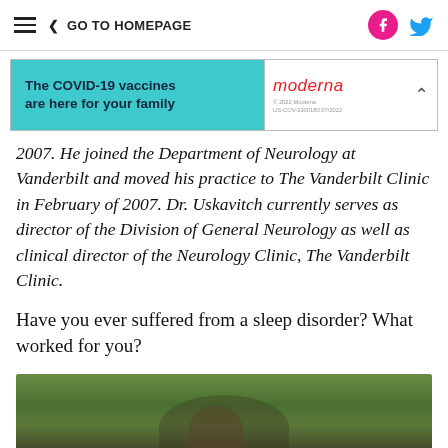≡  < GO TO HOMEPAGE
[Figure (infographic): Moderna advertisement banner: 'The COVID-19 vaccines are here for your family' with Moderna logo and fine print '© 2022 Moderna US-COV-2200180 07/2022']
2007. He joined the Department of Neurology at Vanderbilt and moved his practice to The Vanderbilt Clinic in February of 2007. Dr. Uskavitch currently serves as director of the Division of General Neurology as well as clinical director of the Neurology Clinic, The Vanderbilt Clinic.
Have you ever suffered from a sleep disorder? What worked for you?
[Figure (photo): Outdoor photo of people (appears to be a woman and child) under trees]